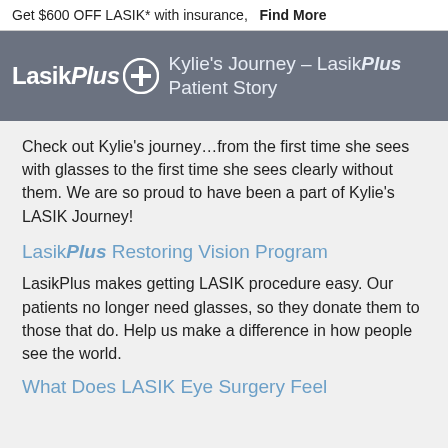Get $600 OFF LASIK* with insurance,  Find More
Kylie's Journey – LasikPlus Patient Story
Check out Kylie's journey…from the first time she sees with glasses to the first time she sees clearly without them. We are so proud to have been a part of Kylie's LASIK Journey!
LasikPlus Restoring Vision Program
LasikPlus makes getting LASIK procedure easy. Our patients no longer need glasses, so they donate them to those that do. Help us make a difference in how people see the world.
What Does LASIK Eye Surgery Feel